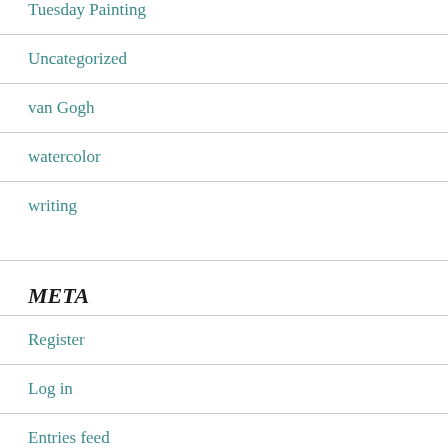Tuesday Painting
Uncategorized
van Gogh
watercolor
writing
META
Register
Log in
Entries feed
Comments feed